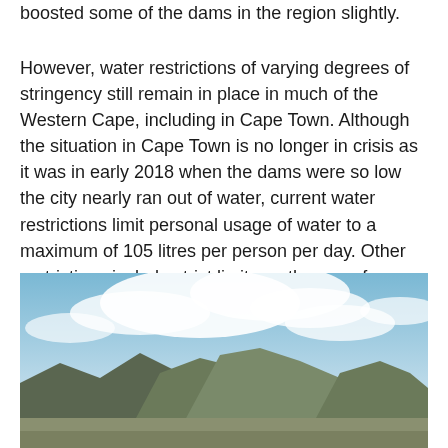boosted some of the dams in the region slightly.
However, water restrictions of varying degrees of stringency still remain in place in much of the Western Cape, including in Cape Town. Although the situation in Cape Town is no longer in crisis as it was in early 2018 when the dams were so low the city nearly ran out of water, current water restrictions limit personal usage of water to a maximum of 105 litres per person per day. Other restrictions include strict limits on the use of hosepipes.
[Figure (photo): Landscape photograph showing mountains under a partly cloudy blue sky, with arid terrain in the foreground. Likely a scene from the Western Cape region of South Africa.]